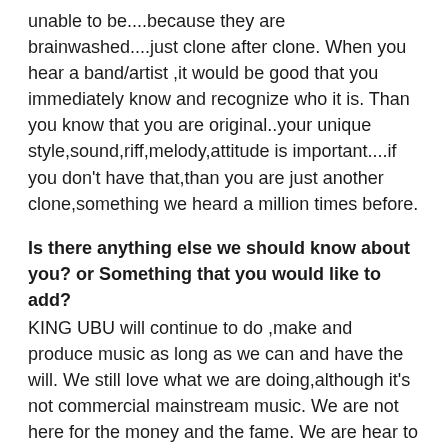unable to be....because they are brainwashed....just clone after clone. When you hear a band/artist ,it would be good that you immediately know and recognize who it is. Than you know that you are original..your unique style,sound,riff,melody,attitude is important....if you don't have that,than you are just another clone,something we heard a million times before.
Is there anything else we should know about you? or Something that you would like to add?
KING UBU will continue to do ,make and produce music as long as we can and have the will. We still love what we are doing,although it's not commercial mainstream music. We are not here for the money and the fame. We are hear to open up your horizon and vision how interesting heavy and strange music can be. Don't be closed mind.Listen to KING UBU .....especially our next album,who's comming soon..